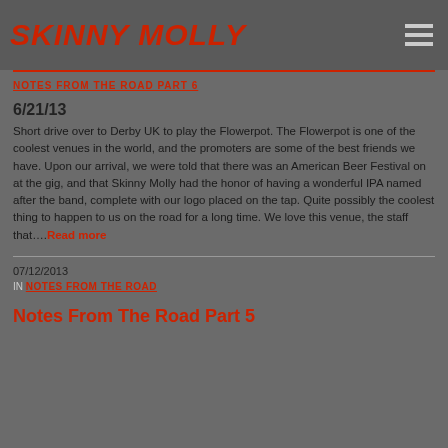SKINNY MOLLY
NOTES FROM THE ROAD PART 6
6/21/13
Short drive over to Derby UK to play the Flowerpot. The Flowerpot is one of the coolest venues in the world, and the promoters are some of the best friends we have. Upon our arrival, we were told that there was an American Beer Festival on at the gig, and that Skinny Molly had the honor of having a wonderful IPA named after the band, complete with our logo placed on the tap. Quite possibly the coolest thing to happen to us on the road for a long time. We love this venue, the staff that….Read more
07/12/2013
IN NOTES FROM THE ROAD
Notes From The Road Part 5